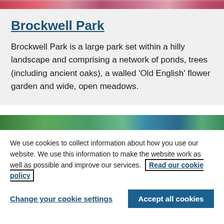[Figure (photo): Top strip of a colorful flower garden photo]
Brockwell Park
Brockwell Park is a large park set within a hilly landscape and comprising a network of ponds, trees (including ancient oaks), a walled 'Old English' flower garden and wide, open meadows.
[Figure (photo): Bottom strip showing green trees and blue sky]
We use cookies to collect information about how you use our website. We use this information to make the website work as well as possible and improve our services.  Read our cookie policy
Change your cookie settings
Accept all cookies